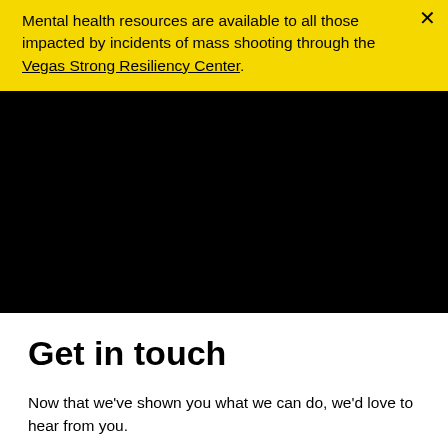Mental health resources are available to all those impacted by incidents of mass shooting through the Vegas Strong Resiliency Center.
[Figure (photo): Large black rectangular image block, possibly a video embed or photo with no visible content.]
Get in touch
Now that we've shown you what we can do, we'd love to hear from you.